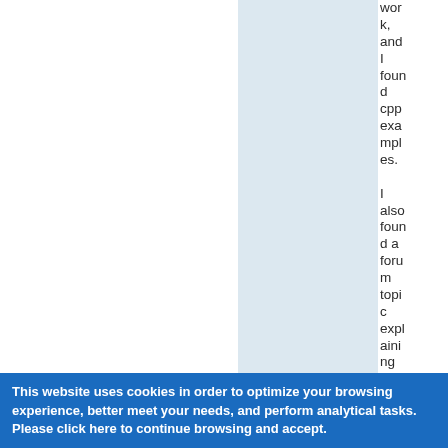work, and I found cpp examples.

I also found a forum topic explaining the usage for dotn
This website uses cookies in order to optimize your browsing experience, better meet your needs, and perform analytical tasks. Please click here to continue browsing and accept.